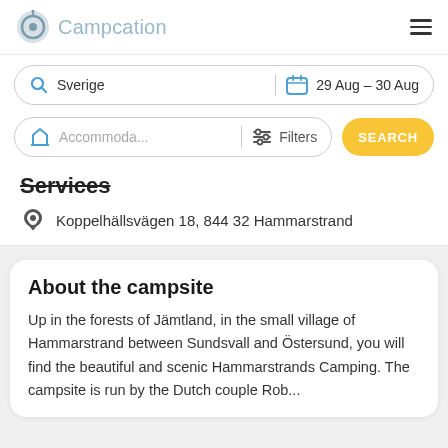Campcation
[Figure (screenshot): Search bar 1: location 'Sverige' and date '29 Aug - 30 Aug']
[Figure (screenshot): Search bar 2: Accommodation filter and Filters with yellow SEARCH button]
Services
Koppelhällsvägen 18, 844 32 Hammarstrand
About the campsite
Up in the forests of Jämtland, in the small village of Hammarstrand between Sundsvall and Östersund, you will find the beautiful and scenic Hammarstrands Camping. The campsite is run by the Dutch couple Rob...